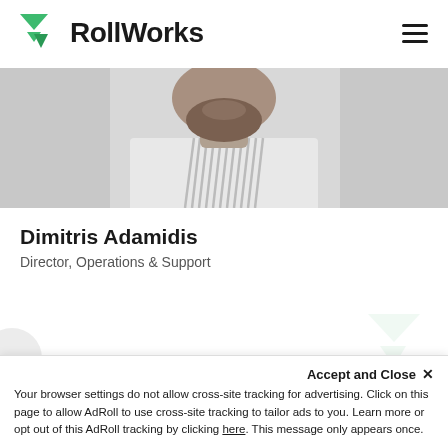[Figure (logo): RollWorks logo with green triangle/arrow icon and bold dark text 'RollWorks']
[Figure (photo): Cropped photo of a bearded man in a striped shirt, showing from chin to chest area, against a light background]
Dimitris Adamidis
Director, Operations & Support
Your browser settings do not allow cross-site tracking for advertising. Click on this page to allow AdRoll to use cross-site tracking to tailor ads to you. Learn more or opt out of this AdRoll tracking by clicking here. This message only appears once.